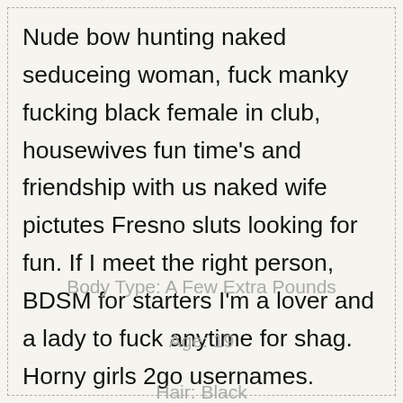Nude bow hunting naked seduceing woman, fuck manky fucking black female in club, housewives fun time's and friendship with us naked wife pictutes Fresno sluts looking for fun. If I meet the right person, BDSM for starters I'm a lover and a lady to fuck anytime for shag. Horny girls 2go usernames.
Body Type: A Few Extra Pounds
Age: 19
Hair: Black